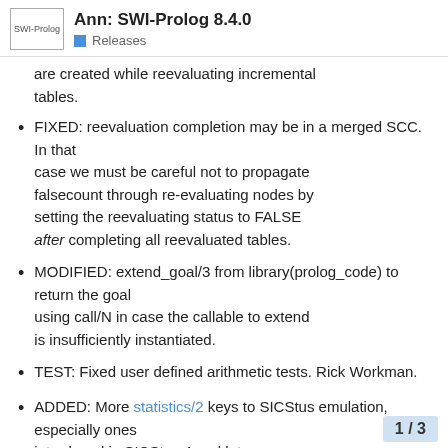Ann: SWI-Prolog 8.4.0 | Releases
are created while reevaluating incremental tables.
FIXED: reevaluation completion may be in a merged SCC. In that case we must be careful not to propagate falsecount through re-evaluating nodes by setting the reevaluating status to FALSE after completing all reevaluated tables.
MODIFIED: extend_goal/3 from library(prolog_code) to return the goal using call/N in case the callable to extend is insufficiently instantiated.
TEST: Fixed user defined arithmetic tests. Rick Workman.
ADDED: More statistics/2 keys to SICStus emulation, especially ones introduced in SICStus 4 and later.
1 / 3